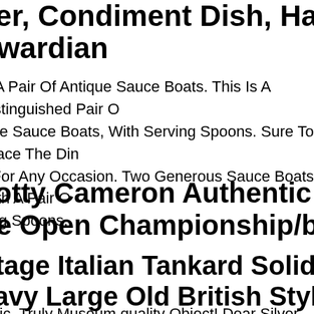ver, Condiment Dish, Hallmarks, Edwardian
Is A Pair Of Antique Sauce Boats. This Is A Distinguished Pair Of Antique Sauce Boats, With Serving Spoons. Sure To Grace The Dinner Table For Any Occasion. Two Generous Sauce Boats With A Pair Of Serving Spoons.
cotty Cameron Authentic Limited The Open Championship/british Open
ntage Italian Tankard Solid Silver Heavy Large Old British Style Rare Sterling
astic, Truly Museum quality Object! Dear Silver Collectors!